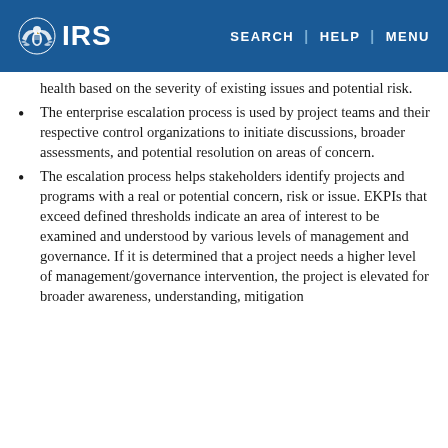IRS | SEARCH | HELP | MENU
health based on the severity of existing issues and potential risk.
The enterprise escalation process is used by project teams and their respective control organizations to initiate discussions, broader assessments, and potential resolution on areas of concern.
The escalation process helps stakeholders identify projects and programs with a real or potential concern, risk or issue. EKPIs that exceed defined thresholds indicate an area of interest to be examined and understood by various levels of management and governance. If it is determined that a project needs a higher level of management/governance intervention, the project is elevated for broader awareness, understanding, mitigation